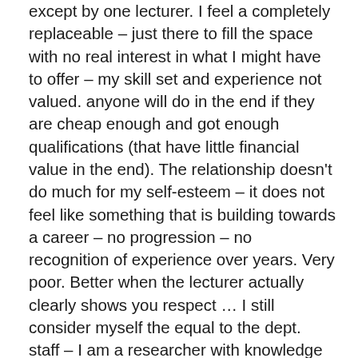except by one lecturer. I feel a completely replaceable – just there to fill the space with no real interest in what I might have to offer – my skill set and experience not valued. anyone will do in the end if they are cheap enough and got enough qualifications (that have little financial value in the end). The relationship doesn't do much for my self-esteem – it does not feel like something that is building towards a career – no progression – no recognition of experience over years. Very poor. Better when the lecturer actually clearly shows you respect … I still consider myself the equal to the dept. staff – I am a researcher with knowledge and experience but demonstrating is not important – seminar work is undervalued and underfunded. The dept pretends to have global significance with many students from across the world – but they are being short changed to suit a reduced financial set up. Students short changed, debate restricted. Not impressed, I'll stop this year. THE PAY IS JUST